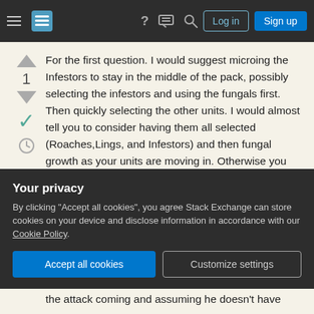[Figure (screenshot): Stack Exchange website navigation bar with hamburger menu, logo, question mark icon, chat icon, search icon, Log in button, and Sign up button]
For the first question. I would suggest microing the Infestors to stay in the middle of the pack, possibly selecting the infestors and using the fungals first. Then quickly selecting the other units. I would almost tell you to consider having them all selected (Roaches,Lings, and Infestors) and then fungal growth as your units are moving in. Otherwise you would require a high APM to move those groups almost simultaneously to engage the enemy.
Also, you don't need to keep selecting the control
Your privacy
By clicking "Accept all cookies", you agree Stack Exchange can store cookies on your device and disclose information in accordance with our Cookie Policy.
the attack coming and assuming he doesn't have